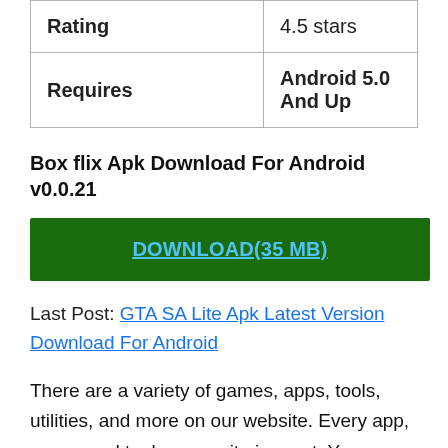| Rating | 4.5 stars |
| Requires | Android 5.0 And Up |
Box flix Apk Download For Android v0.0.21
DOWNLOAD(35 MB)
Last Post: GTA SA Lite Apk Latest Version Download For Android
There are a variety of games, apps, tools, utilities, and more on our website. Every app, game, and tool on our site is great. You can download a bunch of programs and apps from our website and from this page. A note of importance: this app or game is not available in the Google Play store, regardless of its